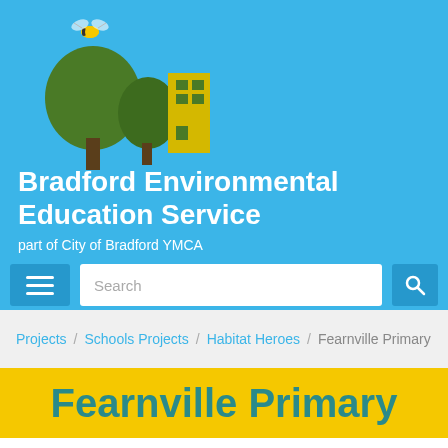[Figure (logo): Bradford Environmental Education Service logo showing trees and a building with a bee, on a blue background]
Bradford Environmental Education Service
part of City of Bradford YMCA
Search
Projects / Schools Projects / Habitat Heroes / Fearnville Primary
Fearnville Primary
class looked at ways to